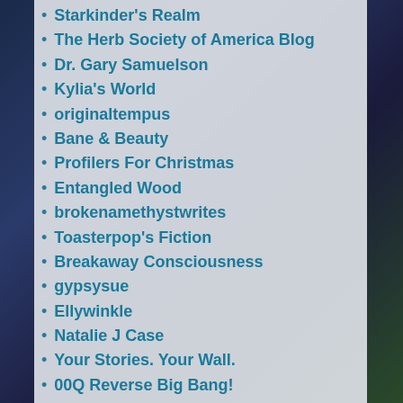Starkinder's Realm
The Herb Society of America Blog
Dr. Gary Samuelson
Kylia's World
originaltempus
Bane & Beauty
Profilers For Christmas
Entangled Wood
brokenamethystwrites
Toasterpop's Fiction
Breakaway Consciousness
gypsysue
Ellywinkle
Natalie J Case
Your Stories. Your Wall.
00Q Reverse Big Bang!
The Wild Hare Project
Anthea Davis
The Deranged Doodles of a Dysfunctional Diva